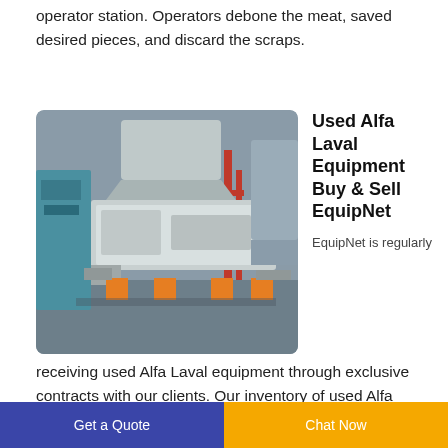operator station. Operators debone the meat, saved desired pieces, and discard the scraps.
[Figure (photo): Industrial meat deboning machine — large grey metal trough/separator unit with orange support feet, in a factory setting]
Used Alfa Laval Equipment Buy & Sell EquipNet
EquipNet is regularly receiving used Alfa Laval equipment through exclusive contracts with our clients. Our inventory of used Alfa Laval equipment includes heat exchangers, reactors, clarifiers, lobe pumps, water purification and still systems, separators, CIPs, and
Get a Quote   Chat Now